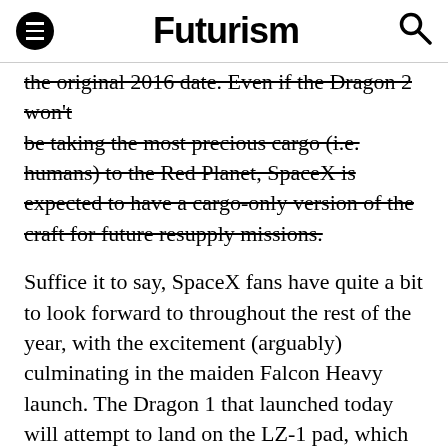Futurism
the original 2016 date. Even if the Dragon 2 won't be taking the most precious cargo (i.e. humans) to the Red Planet, SpaceX is expected to have a cargo-only version of the craft for future resupply missions.
Suffice it to say, SpaceX fans have quite a bit to look forward to throughout the rest of the year, with the excitement (arguably) culminating in the maiden Falcon Heavy launch. The Dragon 1 that launched today will attempt to land on the LZ-1 pad, which is already being prepped for the dual booster landing of the Falcon Heavy this November. While the side boosters land on LZ-1, the core booster will attempt to touch down